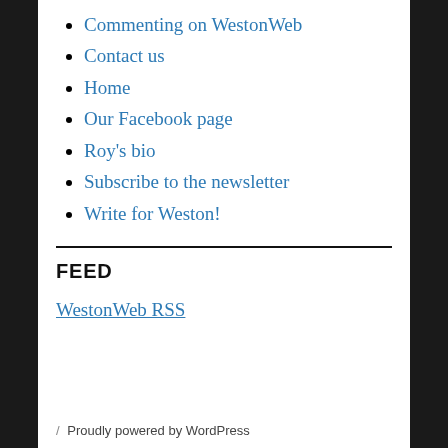Commenting on WestonWeb
Contact us
Home
Our Facebook page
Roy's bio
Subscribe to the newsletter
Write for Weston!
FEED
WestonWeb RSS
/ Proudly powered by WordPress